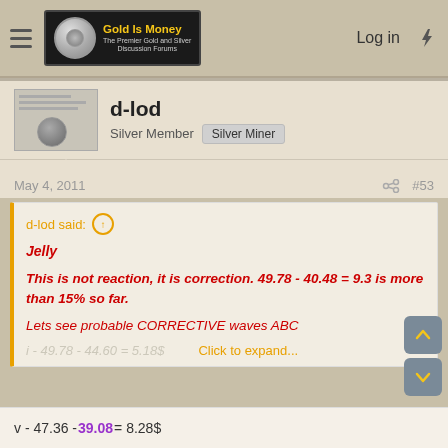Gold Is Money - The Premier Gold and Silver Discussion Forums
d-lod
Silver Member  Silver Miner
May 4, 2011  #53
d-lod said:
Jelly
This is not reaction, it is correction. 49.78 - 40.48 = 9.3 is more than 15% so far.
Lets see probable CORRECTIVE waves ABC
Click to expand...
v - 47.36 - 39.08 = 8.28$